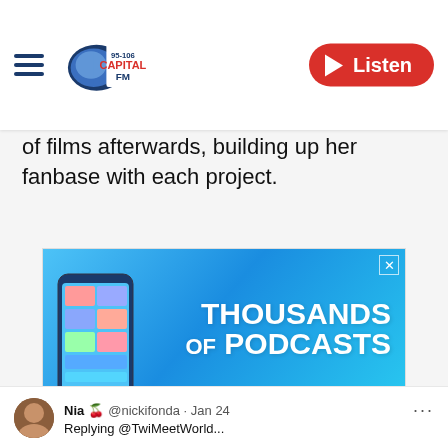95-106 Capital FM — Listen
of films afterwards, building up her fanbase with each project.
[Figure (advertisement): Global Player advertisement showing 'THOUSANDS OF PODCASTS' on a blue gradient background with a phone showing podcasts app, and text 'DOWNLOAD OR STREAM. ALL FOR FREE.' with Global Player logo below.]
Nia 🍒 @nickifonda · Jan 24